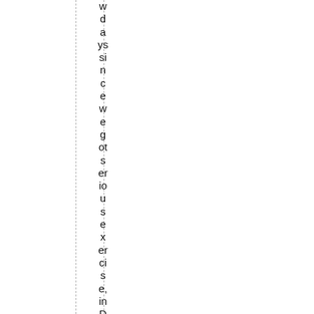w d a ys si n c e w e g ot s er io u s ex er ci s e, in D e n v er w